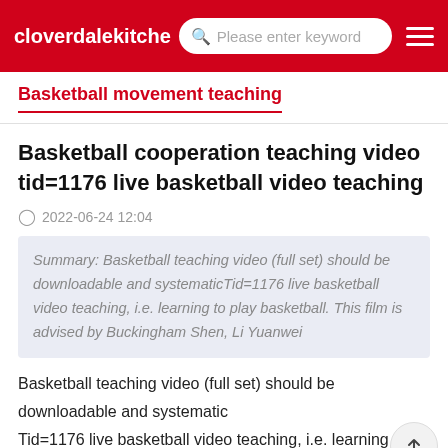cloverdalekitche   Please enter keyword
Basketball movement teaching
Basketball cooperation teaching video tid=1176 live basketball video teaching
2022-06-24 12:04
Summary: Basketball teaching video (full set) should be downloadable and systematicTid=1176 live basketball video teaching, i.e. learning to play basketball. This film is advised by Buckingham Shen, Li Yuanwei
Basketball teaching video (full set) should be downloadable and systematic
Tid=1176 live basketball video teaching, i.e. learning to play basketball. This film is advised by Buckingham Shen, Li Yuanwei and our Minzhi vice chairman of the National